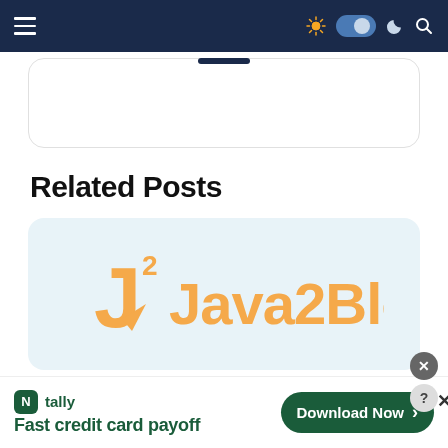Navigation bar with hamburger menu, theme toggle (sun/moon), and search icon
[Figure (screenshot): Top portion of a card/widget partially visible at top of page]
Related Posts
[Figure (logo): Java2Blog logo: stylized J2 with arrow and text 'Java2Blog' in orange/yellow on a light blue card background]
[Figure (infographic): Advertisement bar: Tally app icon, 'tally Fast credit card payoff' text, and 'Download Now' green button with close/help buttons]